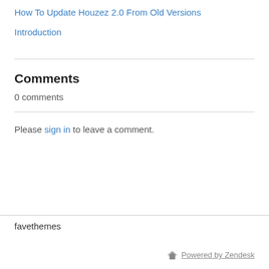How To Update Houzez 2.0 From Old Versions
Introduction
Comments
0 comments
Please sign in to leave a comment.
favethemes
Powered by Zendesk